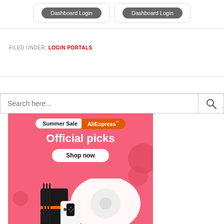[Figure (screenshot): Two 'Dashboard Login' buttons side by side with rounded rectangle borders]
FILED UNDER: LOGIN PORTALS
[Figure (infographic): AliExpress Summer Sale advertisement banner showing 'Official picks' with 'Shop now' button and product images (robot vacuum, gaming console, Nintendo Switch) on a pink/coral background with bubble decorations]